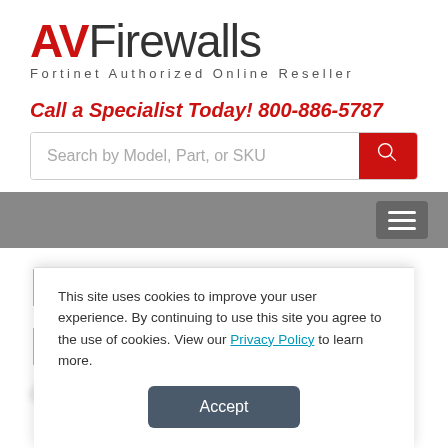[Figure (logo): AVFirewalls logo with red AV and gray Firewalls text, tagline: Fortinet Authorized Online Reseller]
Call a Specialist Today! 800-886-5787
[Figure (screenshot): Search bar with placeholder text 'Search by Model, Part, or SKU' and red search button]
[Figure (screenshot): Gray navigation bar with hamburger menu icon on the right]
Fortinet FortiGate 110C
This site uses cookies to improve your user experience. By continuing to use this site you agree to the use of cookies. View our Privacy Policy to learn more.
Accept